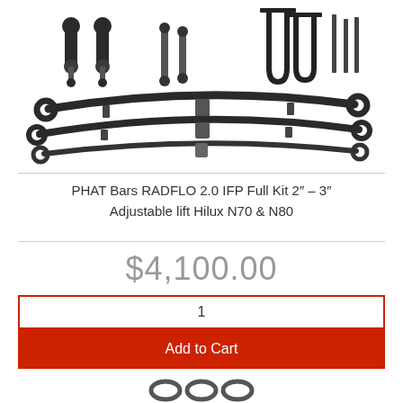[Figure (photo): Product photo showing PHAT Bars RADFLO 2.0 IFP Full Kit components including leaf springs, shock absorbers, U-bolts, and hardware]
PHAT Bars RADFLO 2.0 IFP Full Kit 2" – 3" Adjustable lift Hilux N70 & N80
$4,100.00
1
Add to Cart
[Figure (photo): Partial product image at bottom of page]